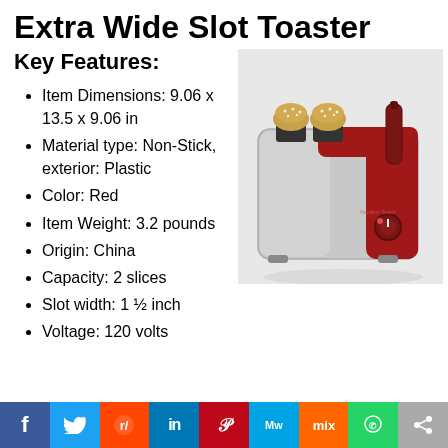Extra Wide Slot Toaster
Key Features:
[Figure (photo): Red Hamilton Beach 2-slot extra wide toaster with chrome body and a sesame seed bun visible in the slots]
Item Dimensions: 9.06 x 13.5 x 9.06 in
Material type: Non-Stick, exterior: Plastic
Color: Red
Item Weight: 3.2 pounds
Origin: China
Capacity: 2 slices
Slot width: 1 ½ inch
Voltage: 120 volts
Social share bar: Facebook, Twitter, Reddit, LinkedIn, Pinterest, MeWe, Mix, WhatsApp, Share